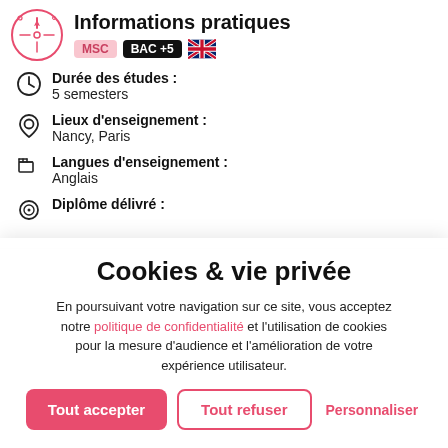Informations pratiques
Durée des études : 5 semesters
Lieux d'enseignement : Nancy, Paris
Langues d'enseignement : Anglais
Diplôme délivré :
Cookies & vie privée
En poursuivant votre navigation sur ce site, vous acceptez notre politique de confidentialité et l'utilisation de cookies pour la mesure d'audience et l'amélioration de votre expérience utilisateur.
Tout accepter | Tout refuser | Personnaliser